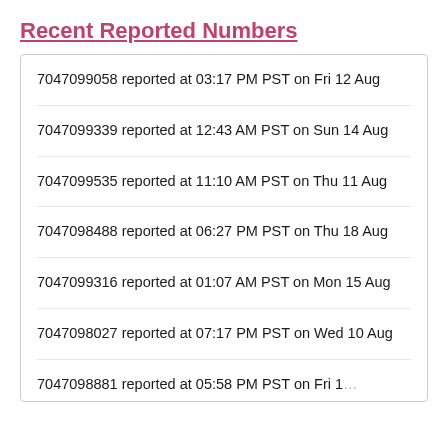Recent Reported Numbers
7047099058 reported at 03:17 PM PST on Fri 12 Aug
7047099339 reported at 12:43 AM PST on Sun 14 Aug
7047099535 reported at 11:10 AM PST on Thu 11 Aug
7047098488 reported at 06:27 PM PST on Thu 18 Aug
7047099316 reported at 01:07 AM PST on Mon 15 Aug
7047098027 reported at 07:17 PM PST on Wed 10 Aug
7047098881 reported at 05:58 PM PST on Fri 19...